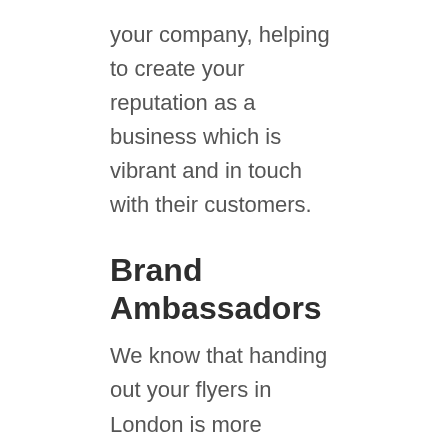your company, helping to create your reputation as a business which is vibrant and in touch with their customers.
Brand Ambassadors
We know that handing out your flyers in London is more important than simply spreading the word; our staff looks and acts the part too.
As one of the best promo companies in the country, we make sure that our